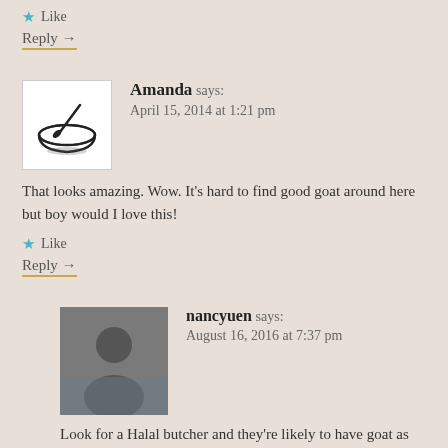Like
Reply →
Amanda says: April 15, 2014 at 1:21 pm
That looks amazing. Wow. It's hard to find good goat around here but boy would I love this!
Like
Reply →
nancyuen says: August 16, 2016 at 7:37 pm
Look for a Halal butcher and they're likely to have goat as well as lamb.